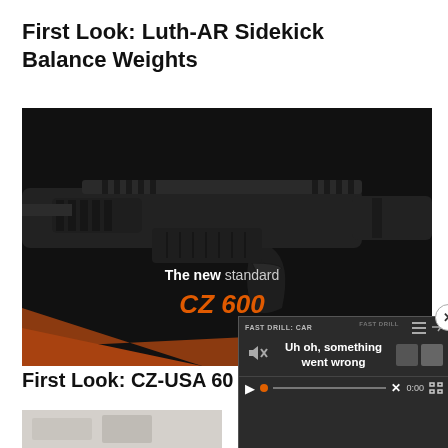First Look: Luth-AR Sidekick Balance Weights
[Figure (photo): Close-up photo of a dark/black rifle with rail system. Text overlay reads 'The new standard' in white and 'CZ 600' in orange stylized font. Orange and brown background visible at bottom.]
First Look: CZ-USA 60
[Figure (screenshot): Video player overlay showing error state. Top bar shows 'FAST DRILL: CAR' title with menu and share icons. Main area shows muted speaker icon, error message 'Uh oh, something went wrong', and two grey preview thumbnails. Bottom controls show play button, progress bar with orange dot, X mark, '0:00' time, and fullscreen button. Close (x) button visible at top right.]
[Figure (photo): Partial thumbnail image visible at bottom left, appears to show a light-colored subject, cropped.]